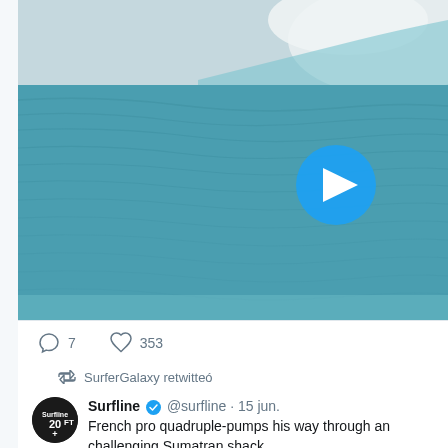[Figure (photo): Screenshot of a Twitter/social media feed showing an ocean wave video thumbnail with a blue play button circle in the center. The wave is turquoise/teal with white foam at top right.]
7   353
SurferGalaxy retwitteó
Surfline @surfline · 15 jun. French pro quadruple-pumps his way through an challenging Sumatran shack.